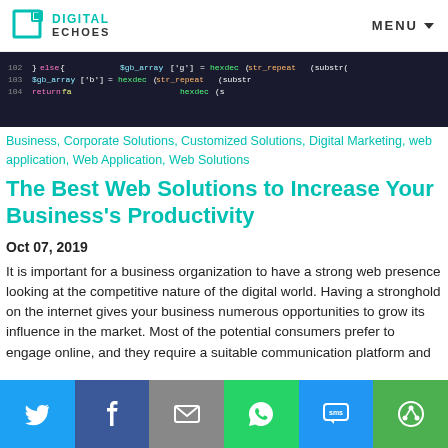DIGITAL ECHOES — MENU
[Figure (screenshot): Code editor screenshot showing PHP/programming code with colorful syntax highlighting on dark background]
Business, Corporate Solutions, Customized Solutions, Digital Marketing, web application, Web Application, Web Solutions
The Best Web Solutions to Increase Your Business's Productivity
Oct 07, 2019
It is important for a business organization to have a strong web presence looking at the competitive nature of the digital world. Having a stronghold on the internet gives your business numerous opportunities to grow its influence in the market. Most of the potential consumers prefer to engage online, and they require a suitable communication platform and...